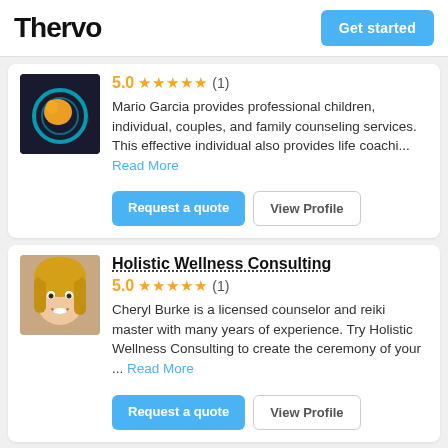Thervo | Get started
5.0 ★★★★★ (1)
Mario Garcia provides professional children, individual, couples, and family counseling services. This effective individual also provides life coachi... Read More
Request a quote | View Profile
Holistic Wellness Consulting
5.0 ★★★★★ (1)
Cheryl Burke is a licensed counselor and reiki master with many years of experience. Try Holistic Wellness Consulting to create the ceremony of your ... Read More
Request a quote | View Profile